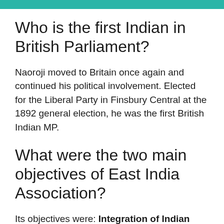Who is the first Indian in British Parliament?
Naoroji moved to Britain once again and continued his political involvement. Elected for the Liberal Party in Finsbury Central at the 1892 general election, he was the first British Indian MP.
What were the two main objectives of East India Association?
Its objectives were: Integration of Indian people on the basis of common political interests. Promotion of friendship and